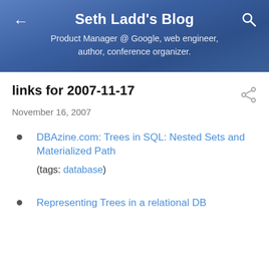Seth Ladd's Blog
Product Manager @ Google, web engineer, author, conference organizer.
links for 2007-11-17
November 16, 2007
DBAzine.com: Trees in SQL: Nested Sets and Materialized Path
(tags: database)
Representing Trees in a relational DB